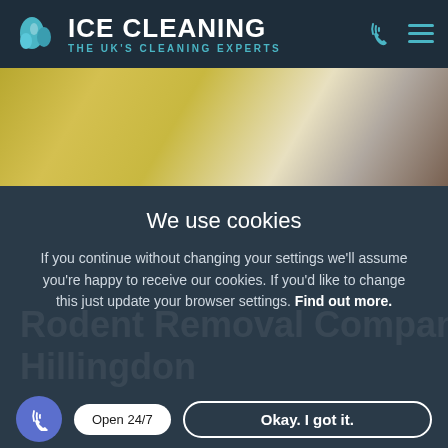[Figure (logo): Ice Cleaning logo with UK map icon, white bold text 'ICE CLEANING' and teal tagline 'THE UK'S CLEANING EXPERTS' on dark navy background]
[Figure (photo): Close-up blurred photo of yellowish-green mouldy or dirty surface with white and brown elements]
We use cookies
If you continue without changing your settings we'll assume you're happy to receive our cookies. If you'd like to change this just update your browser settings. Find out more.
Rodent Removal Company
Hillingdon
Open 24/7
Okay. I got it.